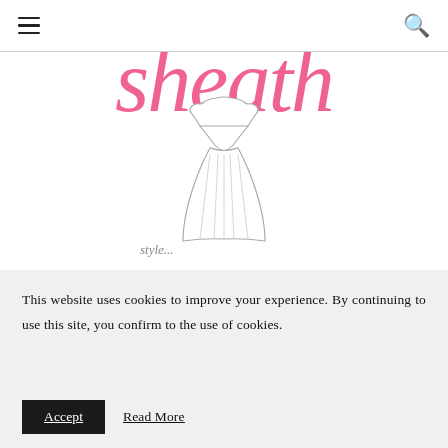Navigation bar with hamburger menu and search icon
[Figure (illustration): Sheath fashion brand logo in pink cursive script with a sketch illustration of a dress below it]
This website uses cookies to improve your experience. By continuing to use this site, you confirm to the use of cookies.
Accept  Read More